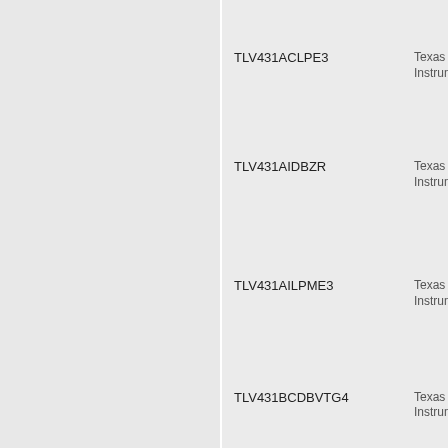TLV431ACLPE3 — Texas Instruments
TLV431AIDBZR — Texas Instruments
TLV431AILPME3 — Texas Instruments
TLV431BCDBVTG4 — Texas Instruments
TLV431BIDBVT — Texas Instruments